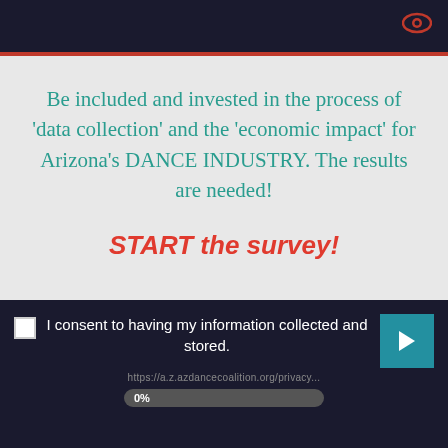Be included and invested in the process of 'data collection' and the 'economic impact' for Arizona's DANCE INDUSTRY. The results are needed!
START the survey!
I consent to having my information collected and stored.